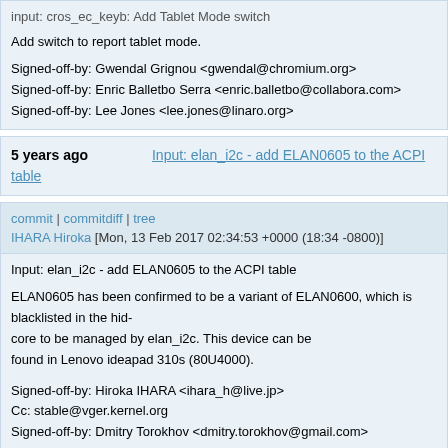input: cros_ec_keyb: Add Tablet Mode switch

Add switch to report tablet mode.

Signed-off-by: Gwendal Grignou <gwendal@chromium.org>
Signed-off-by: Enric Balletbo Serra <enric.balletbo@collabora.com>
Signed-off-by: Lee Jones <lee.jones@linaro.org>
5 years ago   Input: elan_i2c - add ELAN0605 to the ACPI table
commit | commitdiff | tree
IHARA Hiroka [Mon, 13 Feb 2017 02:34:53 +0000 (18:34 -0800)]
Input: elan_i2c - add ELAN0605 to the ACPI table

ELAN0605 has been confirmed to be a variant of ELAN0600, which is blacklisted in the hid-
core to be managed by elan_i2c. This device can be found in Lenovo ideapad 310s (80U4000).

Signed-off-by: Hiroka IHARA <ihara_h@live.jp>
Cc: stable@vger.kernel.org
Signed-off-by: Dmitry Torokhov <dmitry.torokhov@gmail.com>